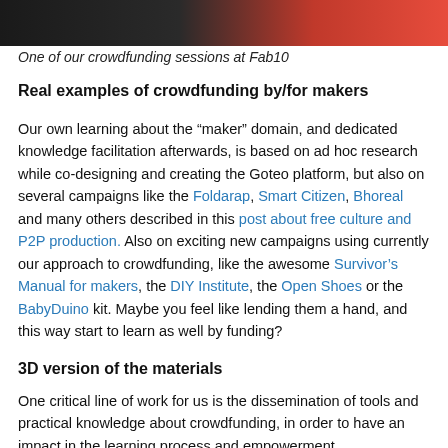[Figure (photo): Partial view of a crowdfunding session at Fab10, showing people with dark and red background elements]
One of our crowdfunding sessions at Fab10
Real examples of crowdfunding by/for makers
Our own learning about the “maker” domain, and dedicated knowledge facilitation afterwards, is based on ad hoc research while co-designing and creating the Goteo platform, but also on several campaigns like the Foldarap, Smart Citizen, Bhoreal and many others described in this post about free culture and P2P production. Also on exciting new campaigns using currently our approach to crowdfunding, like the awesome Survivor’s Manual for makers, the DIY Institute, the Open Shoes or the BabyDuino kit. Maybe you feel like lending them a hand, and this way start to learn as well by funding?
3D version of the materials
One critical line of work for us is the dissemination of tools and practical knowledge about crowdfunding, in order to have an impact in the learning process and empowerment